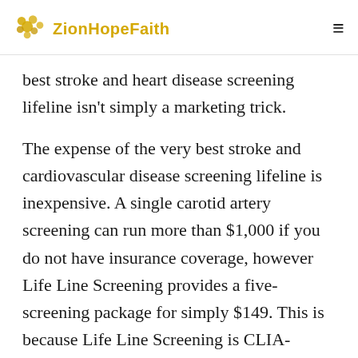ZionHopeFaith
best stroke and heart disease screening lifeline isn't simply a marketing trick.
The expense of the very best stroke and cardiovascular disease screening lifeline is inexpensive. A single carotid artery screening can run more than $1,000 if you do not have insurance coverage, however Life Line Screening provides a five-screening package for simply $149. This is because Life Line Screening is CLIA-certified, and the lab procedures are in line